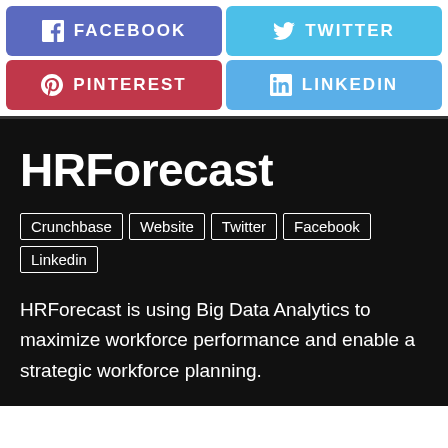[Figure (infographic): Social media share buttons: Facebook (indigo/blue), Twitter (light blue), Pinterest (red), LinkedIn (light blue)]
HRForecast
Crunchbase
Website
Twitter
Facebook
Linkedin
HRForecast is using Big Data Analytics to maximize workforce performance and enable a strategic workforce planning.